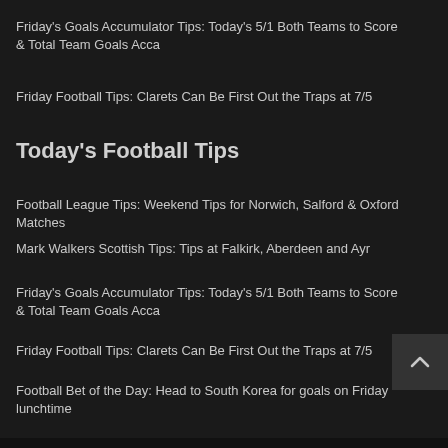Friday's Goals Accumulator Tips: Today's 5/1 Both Teams to Score & Total Team Goals Acca
Friday Football Tips: Clarets Can Be First Out the Traps at 7/5
Today's Football Tips
Football League Tips: Weekend Tips for Norwich, Salford & Oxford Matches
Mark Walkers Scottish Tips: Tips at Falkirk, Aberdeen and Ayr
Friday's Goals Accumulator Tips: Today's 5/1 Both Teams to Score & Total Team Goals Acca
Friday Football Tips: Clarets Can Be First Out the Traps at 7/5
Football Bet of the Day: Head to South Korea for goals on Friday lunchtime